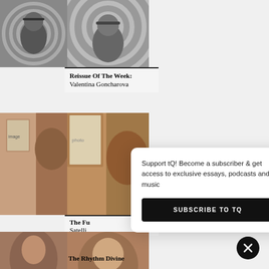[Figure (photo): Black and white photo of a woman with a headband]
Reissue Of The Week:
Valentina Goncharova
[Figure (photo): Color photo of a person near a door]
The Fu
Satelli
[Figure (photo): Color photo of a woman]
The Rhythm Divine
Support tQ! Become a subscriber & get access to exclusive essays, podcasts and music
SUBSCRIBE TO TQ